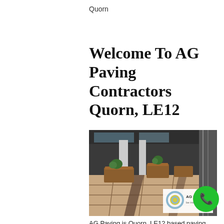Quorn
Welcome To AG Paving Contractors Quorn, LE12
[Figure (photo): Photograph of a commercial outdoor paving area with large stone tiles, wooden planter boxes, plants, and a building facade. AG Paving logo watermark in lower right corner reading 'AG PAVING be inspired...']
AG Paving is Quorn, LE12 based paving